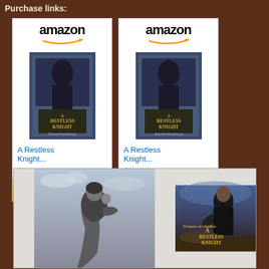Purchase links:
[Figure (screenshot): Amazon product card for 'A Restless Knight...' ebook at $2.99 with Shop now button]
[Figure (screenshot): Amazon product card for 'A Restless Knight...' print at $15.99 with Prime badge and Shop now button]
[Figure (illustration): Two book images side by side: left is grayscale illustration of a knight, right is the color cover of 'A Restless Knight' by Deborah Macgillivray]